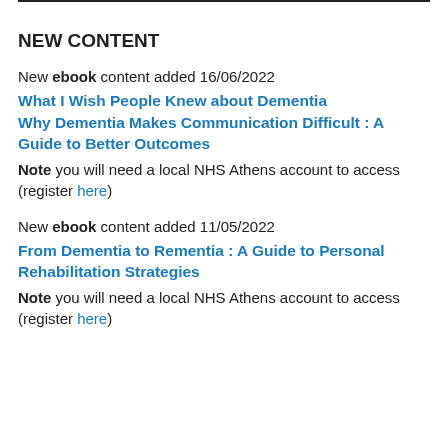NEW CONTENT
New ebook content added 16/06/2022
What I Wish People Knew about Dementia
Why Dementia Makes Communication Difficult : A Guide to Better Outcomes
Note you will need a local NHS Athens account to access (register here)
New ebook content added 11/05/2022
From Dementia to Rementia : A Guide to Personal Rehabilitation Strategies
Note you will need a local NHS Athens account to access (register here)